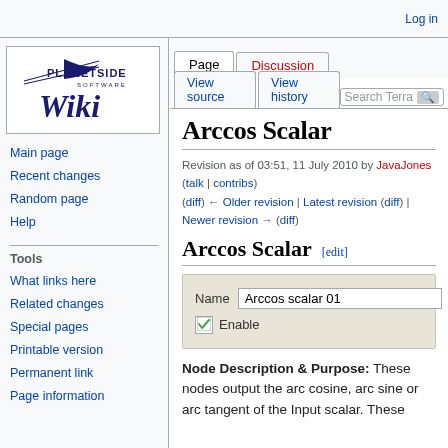Log in
[Figure (logo): Planetside Software Wiki logo with stylized text]
Page | Discussion | View source | View history | Search Terra
Arccos Scalar
Revision as of 03:51, 11 July 2010 by JavaJones (talk | contribs)
(diff) ← Older revision | Latest revision (diff) | Newer revision → (diff)
Arccos Scalar [edit]
| Name | Arccos scalar 01 |
| --- | --- |
| ☑ Enable |  |
Node Description & Purpose: These nodes output the arc cosine, arc sine or arc tangent of the Input scalar. These